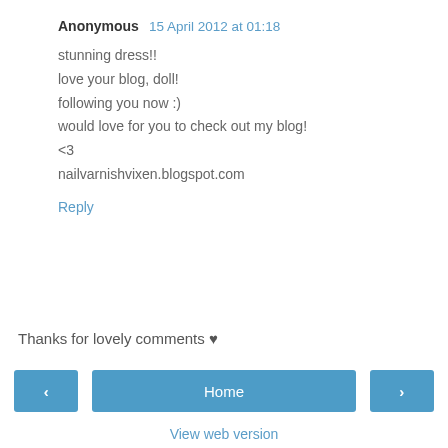Anonymous  15 April 2012 at 01:18
stunning dress!!
love your blog, doll!
following you now :)
would love for you to check out my blog!
<3
nailvarnishvixen.blogspot.com
Reply
Thanks for lovely comments ♥
‹   Home   ›
View web version